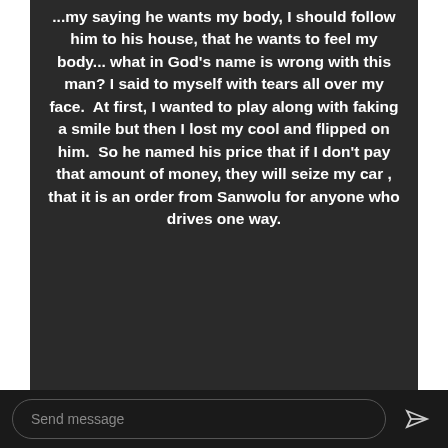...my saying he wants my body, I should follow him to his house, that he wants to feel my body... what in God's name is wrong with this man? I said to myself with tears all over my face.  At first, I wanted to play along with faking a smile but then I lost my cool and flipped on him.  So he named his price that if I don't pay that amount of money, they will seize my car , that it is an order from Sanwolu for anyone who drives one way.
Send message